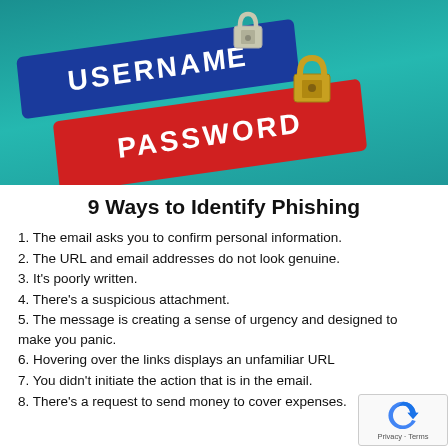[Figure (photo): Photo of keyboard keys showing USERNAME (blue key) and PASSWORD (red key) with padlocks on top, on a teal background]
9 Ways to Identify Phishing
1.  The email asks you to confirm personal information.
2.  The URL and email addresses do not look genuine.
3.  It's poorly written.
4.  There's a suspicious attachment.
5.  The message is creating a sense of urgency and designed to make you panic.
6.  Hovering over the links displays an unfamiliar URL
7.  You didn't initiate the action that is in the email.
8.  There's a request to send money to cover expenses.